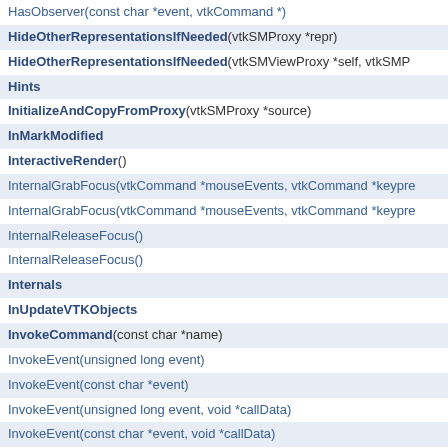HasObserver(const char *event, vtkCommand *)
HideOtherRepresentationsIfNeeded(vtkSMProxy *repr)
HideOtherRepresentationsIfNeeded(vtkSMViewProxy *self, vtkSMP...
Hints
InitializeAndCopyFromProxy(vtkSMProxy *source)
InMarkModified
InteractiveRender()
InternalGrabFocus(vtkCommand *mouseEvents, vtkCommand *keypre...
InternalGrabFocus(vtkCommand *mouseEvents, vtkCommand *keypre...
InternalReleaseFocus()
InternalReleaseFocus()
Internals
InUpdateVTKObjects
InvokeCommand(const char *name)
InvokeEvent(unsigned long event)
InvokeEvent(const char *event)
InvokeEvent(unsigned long event, void *callData)
InvokeEvent(const char *event, void *callData)
InvokeEvent(unsigned long event, void *callData)
InvokeEvent(const char *event, void *callData)
IsA(const char *type)
IsContentRenderingRoot()